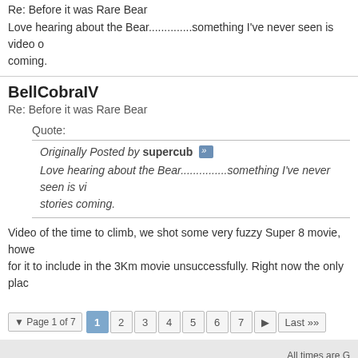Re: Before it was Rare Bear
Love hearing about the Bear..............something I've never seen is video of the time to climb, we shot some very fuzzy Super 8 movie stories coming.
BellCobraIV
Re: Before it was Rare Bear
Quote: Originally Posted by supercub — Love hearing about the Bear...............something I've never seen is video stories coming.
Video of the time to climb, we shot some very fuzzy Super 8 movie, however for it to include in the 3Km movie unsuccessfully. Right now the only plac
Page 1 of 7  1 2 3 4 5 6 7  Last
All times are G  Powered Copyright © 2022 v  This Website And All Content Within Â© 1